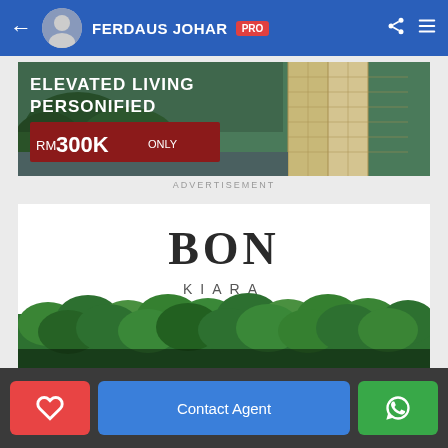FERDAUS JOHAR PRO
[Figure (photo): Real estate advertisement banner showing aerial view of high-rise building with text 'ELEVATED LIVING PERSONIFIED' and 'RM300K ONLY']
ADVERTISEMENT
[Figure (logo): BON KIARA logo and property advertisement showing green hedges with text 'We are visiting your']
Contact Agent